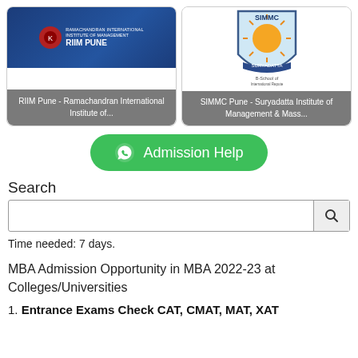[Figure (logo): RIIM Pune card with blue banner logo showing Ramachandran International Institute of Management, RIIM PUNE text]
RIIM Pune - Ramachandran International Institute of...
[Figure (logo): SIMMC Suryadatta card with shield logo showing sun emblem and SIMMC SURYADATTA text, B-School of International Repute]
SIMMC Pune - Suryadatta Institute of Management & Mass...
[Figure (other): Green WhatsApp Admission Help button with WhatsApp icon]
Search
Time needed: 7 days.
MBA Admission Opportunity in MBA 2022-23 at Colleges/Universities
1. Entrance Exams Check CAT, CMAT, MAT, XAT